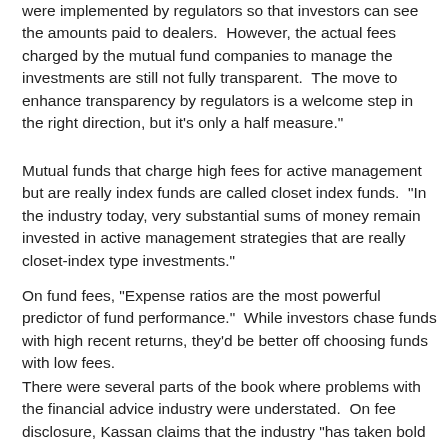were implemented by regulators so that investors can see the amounts paid to dealers.  However, the actual fees charged by the mutual fund companies to manage the investments are still not fully transparent.  The move to enhance transparency by regulators is a welcome step in the right direction, but it's only a half measure."
Mutual funds that charge high fees for active management but are really index funds are called closet index funds.  "In the industry today, very substantial sums of money remain invested in active management strategies that are really closet-index type investments."
On fund fees, "Expense ratios are the most powerful predictor of fund performance."  While investors chase funds with high recent returns, they'd be better off choosing funds with low fees.
There were several parts of the book where problems with the financial advice industry were understated.  On fee disclosure, Kassan claims that the industry "has taken bold steps to enhance disclosure" with changes that were known as CRM2.  And an issue on section of investors still think th...